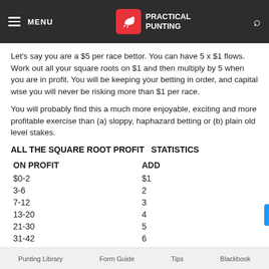MENU | PRACTICAL PUNTING
Let's say you are a $5 per race bettor. You can have 5 x $1 flows. Work out all your square roots on $1 and then multiply by 5 when you are in profit. You will be keeping your betting in order, and capital wise you will never be risking more than $1 per race.
You will probably find this a much more enjoyable, exciting and more profitable exercise than (a) sloppy, haphazard betting or (b) plain old level stakes.
ALL THE SQUARE ROOT PROFIT  STATISTICS
| ON PROFIT | ADD |
| --- | --- |
| $0-2 | $1 |
| 3-6 | 2 |
| 7-12 | 3 |
| 13-20 | 4 |
| 21-30 | 5 |
| 31-42 | 6 |
Punting Library    Form Guide    Tips    Blackbook